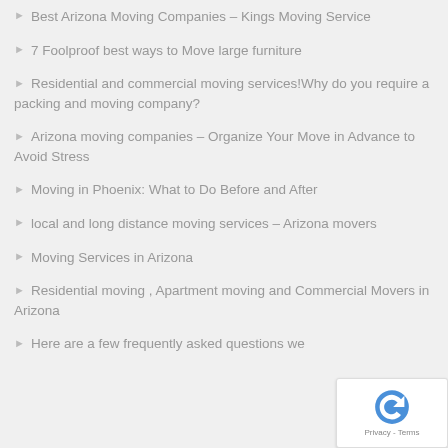Best Arizona Moving Companies – Kings Moving Service
7 Foolproof best ways to Move large furniture
Residential and commercial moving services!Why do you require a packing and moving company?
Arizona moving companies – Organize Your Move in Advance to Avoid Stress
Moving in Phoenix: What to Do Before and After
local and long distance moving services – Arizona movers
Moving Services in Arizona
Residential moving , Apartment moving and Commercial Movers in Arizona
Here are a few frequently asked questions we